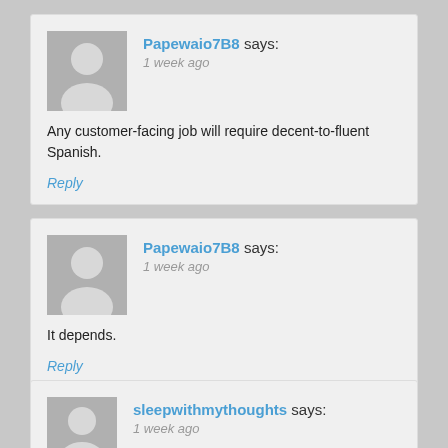Papewaio7B8 says: 1 week ago
Any customer-facing job will require decent-to-fluent Spanish.
Reply
Papewaio7B8 says: 1 week ago
It depends.
Reply
sleepwithmythoughts says: 1 week ago
In the summer yes but I thought some